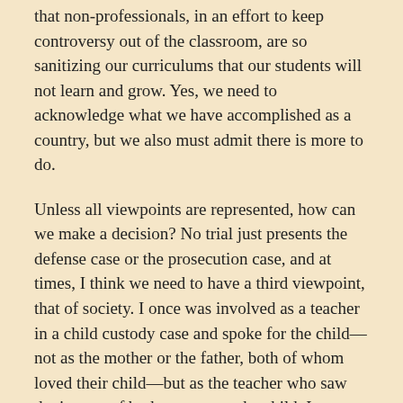that non-professionals, in an effort to keep controversy out of the classroom, are so sanitizing our curriculums that our students will not learn and grow. Yes, we need to acknowledge what we have accomplished as a country, but we also must admit there is more to do.
Unless all viewpoints are represented, how can we make a decision? No trial just presents the defense case or the prosecution case, and at times, I think we need to have a third viewpoint, that of society. I once was involved as a teacher in a child custody case and spoke for the child—not as the mother or the father, both of whom loved their child—but as the teacher who saw the impact of both parents on the child. I was that third or maybe even the fourth voice, since the child was also questioned.
As our
[Figure (photo): Black and white photo of a person's lower body on an escalator, wearing jeans and sneakers, viewed from the side/back.]